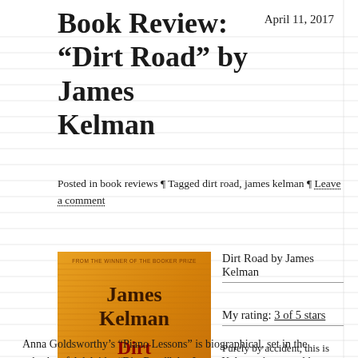Book Review: “Dirt Road” by James Kelman
April 11, 2017
Posted in book reviews ¶ Tagged dirt road, james kelman ¶ Leave a comment
[Figure (photo): Book cover of 'Dirt Road' by James Kelman — orange background with author name in dark brown, title in red, and a silhouette figure of a musician with an accordion]
Dirt Road by James Kelman
My rating: 3 of 5 stars
Purely by accident, this is the second book I’ve read recently which delves into the mind of a musician. The first, Anna Goldsworthy’s “Piano Lessons” is biographical, set in the suburbs of Adelaide. “Dirt Road”, by James Kelman, is a novel but initially in the Scottish Isles and